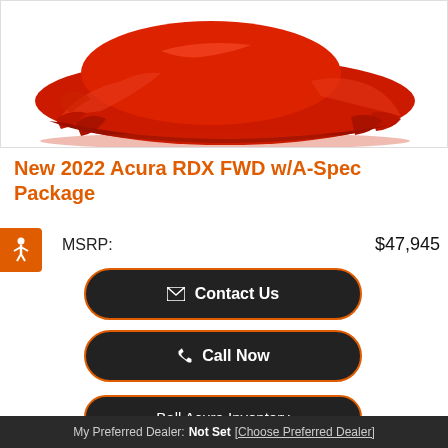[Figure (photo): Car covered with a red cloth/drape, showroom reveal style, on white background]
New 2022 Acura RDX FWD w/A-Spec Package
MSRP: $47,945
Contact Us
Call Now
Ball Acura Inventory
Ext. Color: MAJESTIC BLACK   Transmission: Automatic
My Preferred Dealer: Not Set [Choose Preferred Dealer]